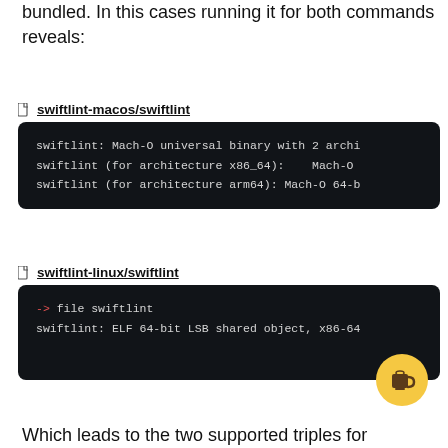bundled. In this cases running it for both commands reveals:
📄 swiftlint-macos/swiftlint
swiftlint: Mach-O universal binary with 2 archi
swiftlint (for architecture x86_64):    Mach-O
swiftlint (for architecture arm64): Mach-O 64-b
📄 swiftlint-linux/swiftlint
-> file swiftlint
swiftlint: ELF 64-bit LSB shared object, x86-64
Which leads to the two supported triples for